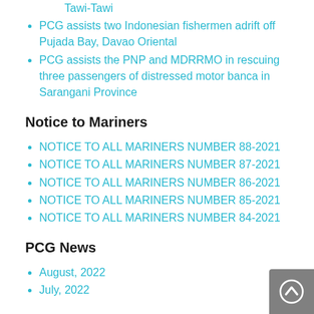Tawi-Tawi
PCG assists two Indonesian fishermen adrift off Pujada Bay, Davao Oriental
PCG assists the PNP and MDRRMO in rescuing three passengers of distressed motor banca in Sarangani Province
Notice to Mariners
NOTICE TO ALL MARINERS NUMBER 88-2021
NOTICE TO ALL MARINERS NUMBER 87-2021
NOTICE TO ALL MARINERS NUMBER 86-2021
NOTICE TO ALL MARINERS NUMBER 85-2021
NOTICE TO ALL MARINERS NUMBER 84-2021
PCG News
August, 2022
July, 2022